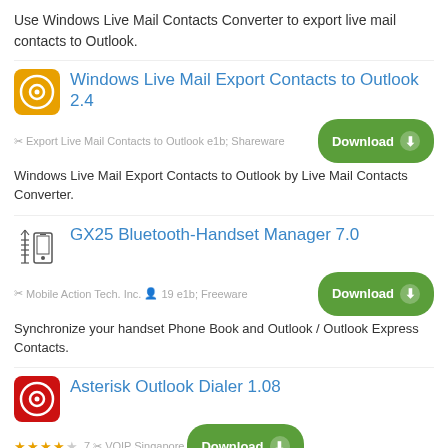Use Windows Live Mail Contacts Converter to export live mail contacts to Outlook.
Windows Live Mail Export Contacts to Outlook 2.4
Export Live Mail Contacts to Outlook   Shareware
Windows Live Mail Export Contacts to Outlook by Live Mail Contacts Converter.
GX25 Bluetooth-Handset Manager 7.0
Mobile Action Tech. Inc.   19   Freeware
Synchronize your handset Phone Book and Outlook / Outlook Express Contacts.
Asterisk Outlook Dialer 1.08
★★★★☆ 7   VOIP Singapore   4   Freeware
Asterisk Outlook Dialer - Dial from Outlook